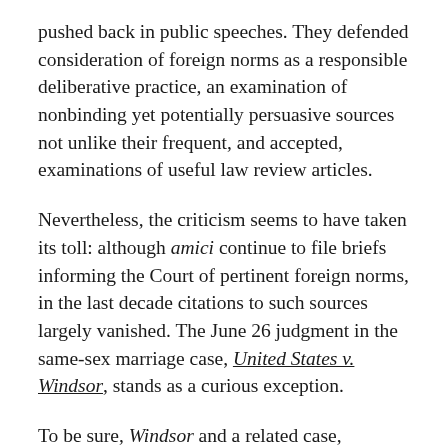pushed back in public speeches. They defended consideration of foreign norms as a responsible deliberative practice, an examination of nonbinding yet potentially persuasive sources not unlike their frequent, and accepted, examinations of useful law review articles.
Nevertheless, the criticism seems to have taken its toll: although amici continue to file briefs informing the Court of pertinent foreign norms, in the last decade citations to such sources largely vanished. The June 26 judgment in the same-sex marriage case, United States v. Windsor, stands as a curious exception.
To be sure, Windsor and a related case, Hollingsworth v. Perry, attracted amicus briefs discussing foreign and international law. Indeed, international lawyers filed